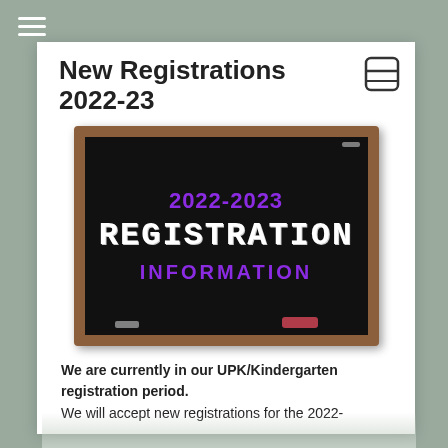≡
New Registrations 2022-23
[Figure (illustration): A chalkboard image showing '2022-2023' in purple text, 'REGISTRATION' in large white chalk-style text, and 'INFORMATION' in purple text below, set in a wooden-framed blackboard.]
We are currently in our UPK/Kindergarten registration period. We will accept new registrations for the 2022-2023 school year for Grades 1-12 by placing a